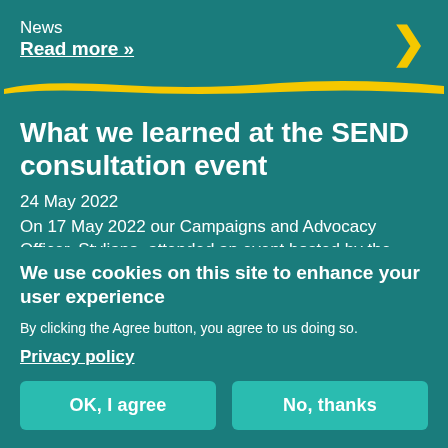News
Read more »
[Figure (illustration): Yellow arrow chevron pointing right, top-right corner]
[Figure (illustration): Yellow horizontal brushstroke bar separator]
What we learned at the SEND consultation event
24 May 2022
On 17 May 2022 our Campaigns and Advocacy Officer, Styliana, attended an event hosted by the
We use cookies on this site to enhance your user experience
By clicking the Agree button, you agree to us doing so.
Privacy policy
OK, I agree
No, thanks